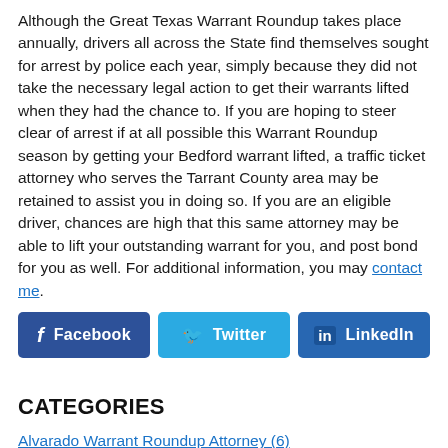Although the Great Texas Warrant Roundup takes place annually, drivers all across the State find themselves sought for arrest by police each year, simply because they did not take the necessary legal action to get their warrants lifted when they had the chance to. If you are hoping to steer clear of arrest if at all possible this Warrant Roundup season by getting your Bedford warrant lifted, a traffic ticket attorney who serves the Tarrant County area may be retained to assist you in doing so. If you are an eligible driver, chances are high that this same attorney may be able to lift your outstanding warrant for you, and post bond for you as well. For additional information, you may contact me.
[Figure (other): Social sharing buttons: Facebook (dark blue), Twitter (light blue), LinkedIn (blue)]
CATEGORIES
Alvarado Warrant Roundup Attorney (6)